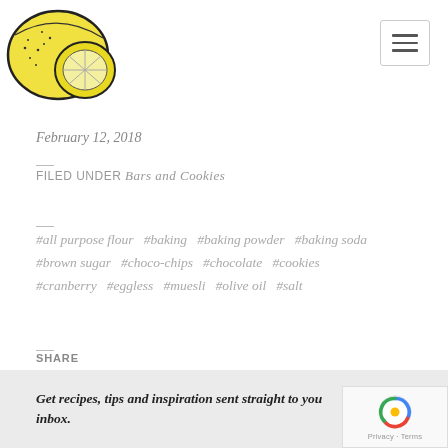[Figure (illustration): Yellow lemon illustration — whole lemon and lemon slice, hand-drawn style with black outline]
February 12, 2018
FILED UNDER Bars and Cookies
#all purpose flour  #baking  #baking powder  #baking soda  #brown sugar  #choco-chips  #chocolate  #cookies  #cranberry  #eggless  #muesli  #olive oil  #salt
SHARE
Facebook
Twitter
Pinterest
Get recipes, tips and inspiration sent straight to your inbox.